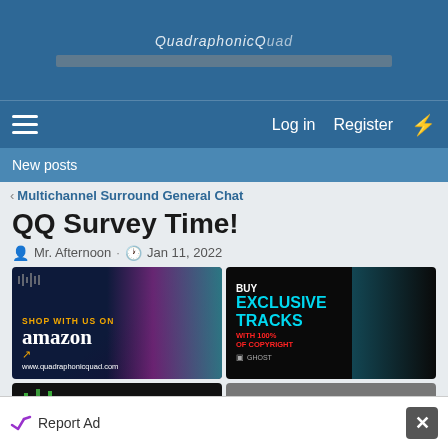QuadraphonicQuad
Log in  Register
New posts
< Multichannel Surround General Chat
QQ Survey Time!
Mr. Afternoon · Jan 11, 2022
[Figure (photo): Advertisement: Shop with us on Amazon - www.quadraphonicquad.com with woman wearing headphones]
[Figure (photo): Advertisement: Buy Exclusive Tracks with 100% of Copyright - Ghost producer]
[Figure (photo): Advertisement: Shop with us on (partial, cut off)]
[Figure (photo): Advertisement: Upgrade Your Sound System Wirelessly (partial, cut off)]
Report Ad